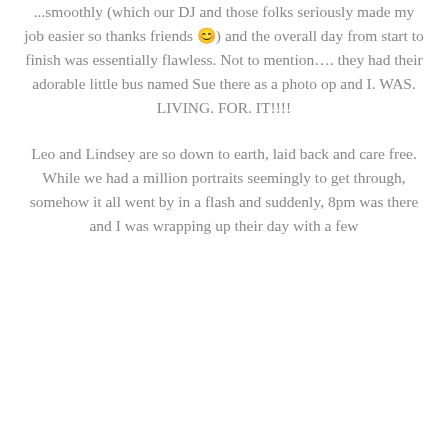...smoothly (which our DJ and those folks seriously made my job easier so thanks friends 😊) and the overall day from start to finish was essentially flawless. Not to mention…. they had their adorable little bus named Sue there as a photo op and I. WAS. LIVING. FOR. IT!!!!
Leo and Lindsey are so down to earth, laid back and care free. While we had a million portraits seemingly to get through, somehow it all went by in a flash and suddenly, 8pm was there and I was wrapping up their day with a few